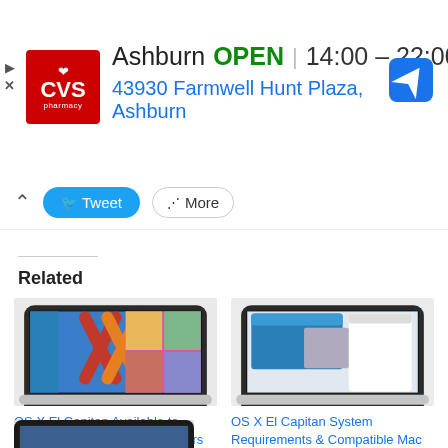[Figure (screenshot): CVS Pharmacy advertisement banner showing store location in Ashburn, open hours 14:00-22:00, address 43930 Farmwell Hunt Plaza, Ashburn, with navigation arrow icon]
[Figure (screenshot): Social sharing bar with caret-up, Tweet button, and More button]
Related
[Figure (screenshot): MacBook laptop showing OS X El Capitan desktop with colorful X logo]
OS X El Capitan Available to Download Now for All Mac Users
[Figure (screenshot): MacBook laptop showing OS X El Capitan system requirements desktop]
OS X El Capitan System Requirements & Compatible Mac List
[Figure (screenshot): MacBook laptop partial view at bottom of page]